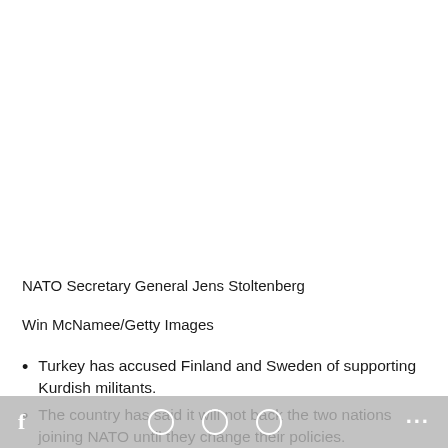[Figure (photo): Photo area - NATO Secretary General Jens Stoltenberg (image not shown, white space)]
NATO Secretary General Jens Stoltenberg
Win McNamee/Getty Images
Turkey has accused Finland and Sweden of supporting Kurdish militants.
The country has said it will not back the two nations joining NATO until they change their policies.
f  [share icons]  ...